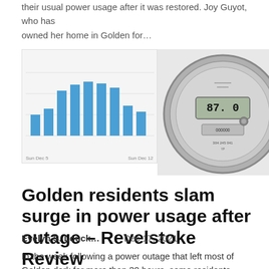their usual power usage after it was restored. Joy Guyot, who has owned her home in Golden for…
[Figure (photo): Composite image showing a bar chart of power usage between Sun Dec 5 and Sun Dec 12 alongside a photo of a circular electrical smart meter]
Golden residents slam surge in power usage after outage – Revelstoke Review
Evelyn S. Louck…   Dec 17, 2021
In the week following a power outage that left most of Golden dark for more than 30 hours, some residents noticed a slight increase in their usual power usage after it was restored. Joy Guyot, who has